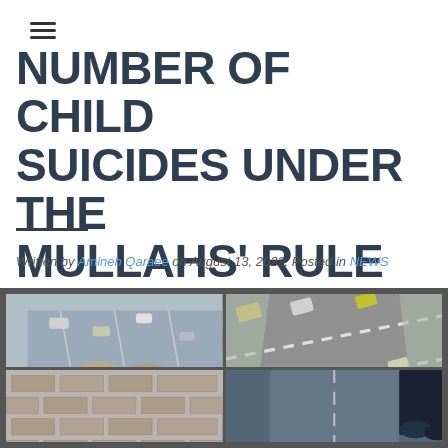☰ (navigation menu)
NUMBER OF CHILD SUICIDES UNDER THE MULLAHS' RULE
Written by Amineh Qaraee on August 13, 2022. Posted in NEWS
[Figure (photo): Collage of four photos related to child suicide - top left shows hands gripping a bridge railing with a highway below, top right shows aerial view of a road with cars, bottom left shows a person near a brick wall, bottom right shows a partial aerial/street view.]